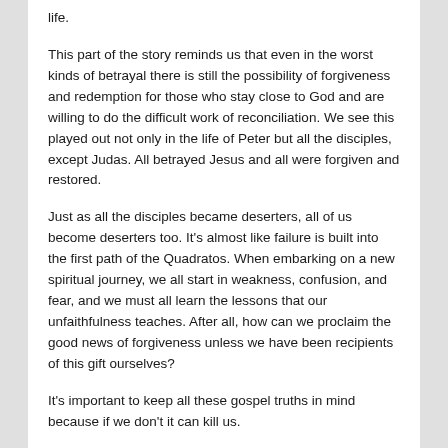life.
This part of the story reminds us that even in the worst kinds of betrayal there is still the possibility of forgiveness and redemption for those who stay close to God and are willing to do the difficult work of reconciliation. We see this played out not only in the life of Peter but all the disciples, except Judas. All betrayed Jesus and all were forgiven and restored.
Just as all the disciples became deserters, all of us become deserters too. It’s almost like failure is built into the first path of the Quadratos. When embarking on a new spiritual journey, we all start in weakness, confusion, and fear, and we must all learn the lessons that our unfaithfulness teaches. After all, how can we proclaim the good news of forgiveness unless we have been recipients of this gift ourselves?
It’s important to keep all these gospel truths in mind because if we don’t it can kill us.